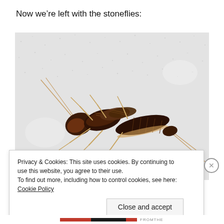Now we're left with the stoneflies:
[Figure (photo): Close-up photograph of a stonefly nymph (aquatic insect) viewed from above, showing dark brown and tan segmented body with antennae and legs, resting on a white/light grey speckled surface.]
Privacy & Cookies: This site uses cookies. By continuing to use this website, you agree to their use.
To find out more, including how to control cookies, see here: Cookie Policy
Close and accept